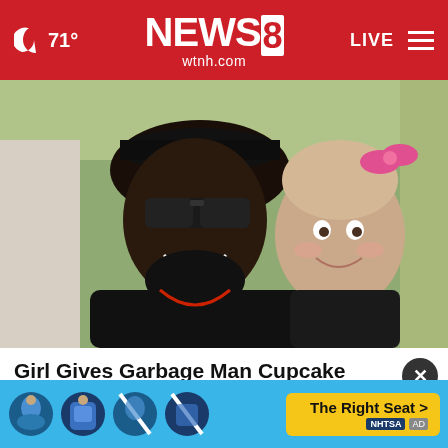71° NEWS8 wtnh.com LIVE
[Figure (photo): A smiling man wearing sunglasses and a black cap posing with a young toddler girl who has a pink bow in her hair. The man is wearing a black jacket with a red necklace. The photo appears to be taken outdoors.]
Girl Gives Garbage Man Cupcake Every Week Until Dad Follows Him and Sees Why
HealthyGem
[Figure (infographic): NHTSA advertisement banner in blue with child car seat icons and text 'The Right Seat >' and 'NHTSA' logo on yellow background.]